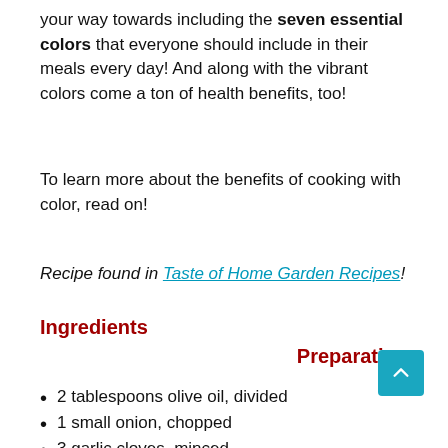your way towards including the seven essential colors that everyone should include in their meals every day! And along with the vibrant colors come a ton of health benefits, too!
To learn more about the benefits of cooking with color, read on!
Recipe found in Taste of Home Garden Recipes!
Ingredients
Preparation
2 tablespoons olive oil, divided
1 small onion, chopped
3 garlic cloves, minced